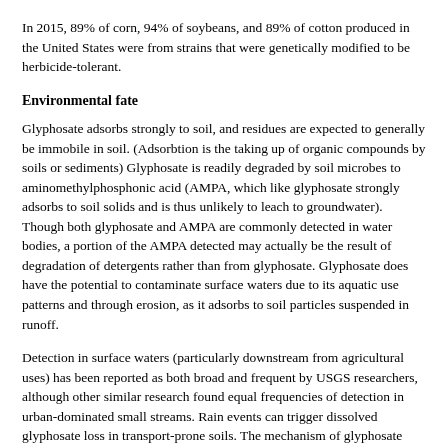In 2015, 89% of corn, 94% of soybeans, and 89% of cotton produced in the United States were from strains that were genetically modified to be herbicide-tolerant.
Environmental fate
Glyphosate adsorbs strongly to soil, and residues are expected to generally be immobile in soil. (Adsorbtion is the taking up of organic compounds by soils or sediments) Glyphosate is readily degraded by soil microbes to aminomethylphosphonic acid (AMPA, which like glyphosate strongly adsorbs to soil solids and is thus unlikely to leach to groundwater). Though both glyphosate and AMPA are commonly detected in water bodies, a portion of the AMPA detected may actually be the result of degradation of detergents rather than from glyphosate. Glyphosate does have the potential to contaminate surface waters due to its aquatic use patterns and through erosion, as it adsorbs to soil particles suspended in runoff.
Detection in surface waters (particularly downstream from agricultural uses) has been reported as both broad and frequent by USGS researchers, although other similar research found equal frequencies of detection in urban-dominated small streams. Rain events can trigger dissolved glyphosate loss in transport-prone soils. The mechanism of glyphosate sorption to soil is similar to